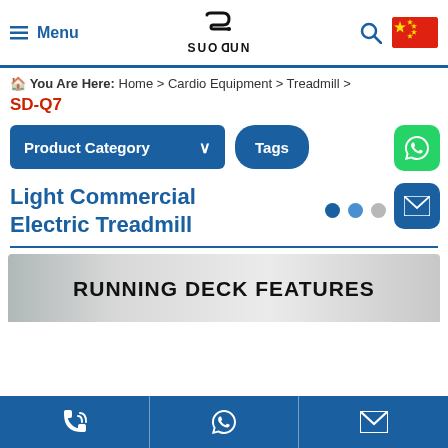Menu | SUODUN | Search | China flag
You Are Here: Home > Cardio Equipment > Treadmill >
SD-Q7
Product Category | Tags
Light Commercial Electric Treadmill
RUNNING DECK FEATURES
Phone | WhatsApp | Email